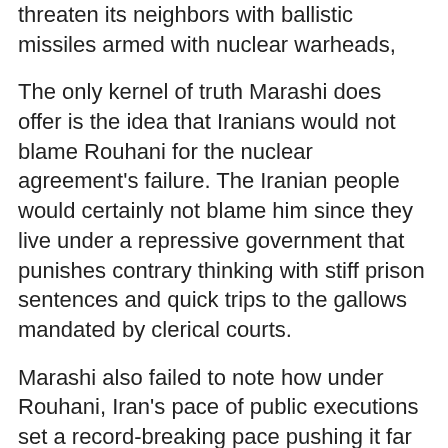threaten its neighbors with ballistic missiles armed with nuclear warheads,
The only kernel of truth Marashi does offer is the idea that Iranians would not blame Rouhani for the nuclear agreement's failure. The Iranian people would certainly not blame him since they live under a repressive government that punishes contrary thinking with stiff prison sentences and quick trips to the gallows mandated by clerical courts.
Marashi also failed to note how under Rouhani, Iran's pace of public executions set a record-breaking pace pushing it far beyond almost every nation on Earth. It's no wonder no Iranian would openly blame Rouhani since to do so almost guarantees a prison sentence